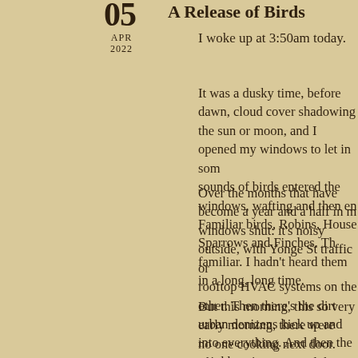05 A Release of Birds
APR
2022
I woke up at 3:50am today.
It was a dusky time, before dawn, cloud cover shadowing the sun or moon, and I opened my windows to let in som sounds of birds entered the windows, wafting and then en Familiar birds, Robins, House Sparrows and Finches. Th familiar. I hadn't heard them in a long, long time.
Over the months that have become a year and a half in m windows shut: it's noisy outside, with Yonge St traffic or rooftop HVAC systems on the other. Then there's the dir urban denizens kick up and into everything. And then the neighbouring apartment dweller's cooking, coming from located just below my most accessible window.
But this morning, this so very early morning, there were no one cooking next door. There was just me and the bir back to an earlier time, my adolescence, when I was a W relish the opportunity to get up so early to go out birdwat